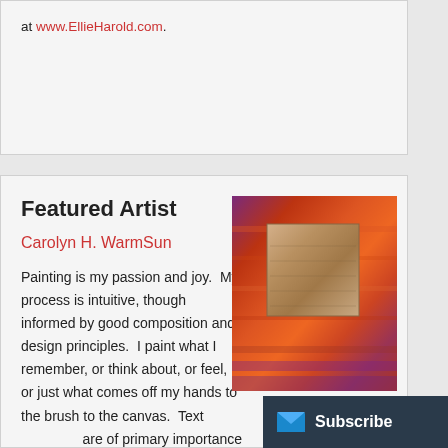at www.EllieHarold.com.
Featured Artist
Carolyn H. WarmSun
[Figure (photo): Abstract painting with warm orange and red tones featuring a square inset element in earthy brown tones, titled Transition]
Transition
Painting is my passion and joy.  My process is intuitive, though informed by good composition and design principles.  I paint what I remember, or think about, or feel, or just what comes off my hands to the brush to the canvas.  Text are of primary importance to me.  I typically d